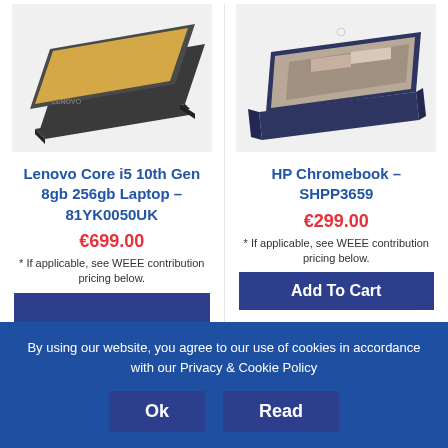[Figure (photo): Lenovo laptop computer shown from top and slightly open angle, dark grey color]
[Figure (photo): HP Chromebook laptop computer shown open at slight angle, dark navy color]
Lenovo Core i5 10th Gen 8gb 256gb Laptop – 81YK0050UK
€699.00
* If applicable, see WEEE contribution pricing below.
HP Chromebook – SHPP3659
€299.00
* If applicable, see WEEE contribution pricing below.
Add To Cart
By using our website, you agree to our use of cookies in accordance with our Privacy & Cookie Policy
Ok
Read